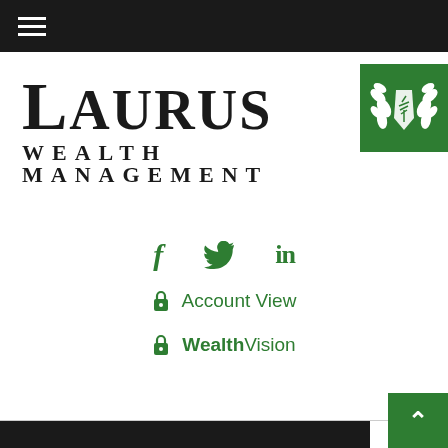[Figure (logo): Laurus Wealth Management logo with green laurel wreath badge]
f  (twitter bird)  in
🔒 Account View
🔒 WealthVision